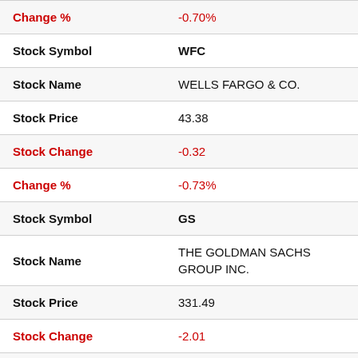| Field | Value |
| --- | --- |
| Change % | -0.70% |
| Stock Symbol | WFC |
| Stock Name | WELLS FARGO & CO. |
| Stock Price | 43.38 |
| Stock Change | -0.32 |
| Change % | -0.73% |
| Stock Symbol | GS |
| Stock Name | THE GOLDMAN SACHS GROUP INC. |
| Stock Price | 331.49 |
| Stock Change | -2.01 |
| Change % | -0.60% |